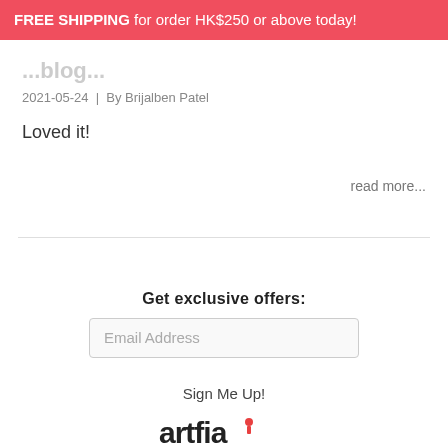FREE SHIPPING for order HK$250 or above today!
...blog...
2021-05-24  |  By Brijalben Patel
Loved it!
read more...
Get exclusive offers:
Email Address
Sign Me Up!
[Figure (logo): artfia logo at bottom of page]